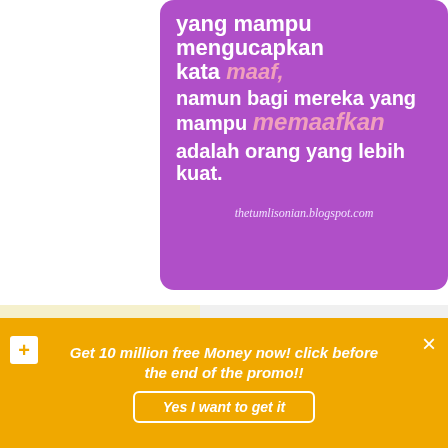[Figure (illustration): Purple motivational quote card in Indonesian: 'yang mampu mengucapkan kata maaf, namun bagi mereka yang mampu memaafkan adalah orang yang lebih kuat.' with blog URL thetumlisonian.blogspot.com]
[Figure (illustration): Second purple card partially visible showing 'Ketika hal buruk']
[Figure (illustration): Handwritten note on yellow paper: 'Biarlah semua berjalan apa adanya Berlalu dengan']
Related Articles
Get 10 million free Money now! click before the end of the promo!!
Yes I want to get it